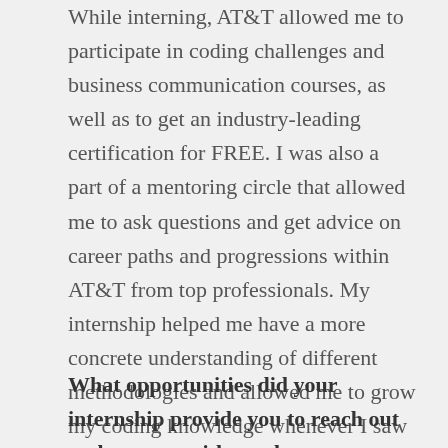While interning, AT&T allowed me to participate in coding challenges and business communication courses, as well as to get an industry-leading certification for FREE. I was also a part of a mentoring circle that allowed me to ask questions and get advice on career paths and progressions within AT&T from top professionals. My internship helped me have a more concrete understanding of different methodologies and allowed me to grow my coding knowledge whenever I saw fit. There were so many great things I gained from my internship that have allowed me to be the professional I am today.
What opportunities did your internship provide you to reach out and connect with employees across the company?